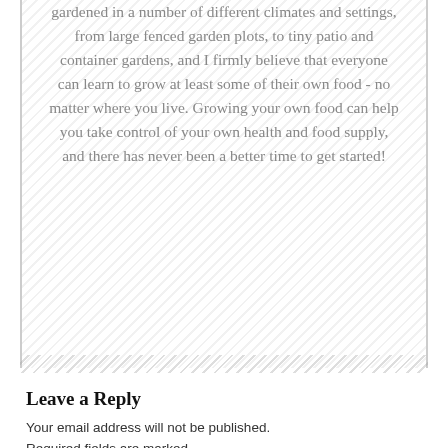gardened in a number of different climates and settings, from large fenced garden plots, to tiny patio and container gardens, and I firmly believe that everyone can learn to grow at least some of their own food - no matter where you live. Growing your own food can help you take control of your own health and food supply, and there has never been a better time to get started!
Leave a Reply
Your email address will not be published. Required fields are marked